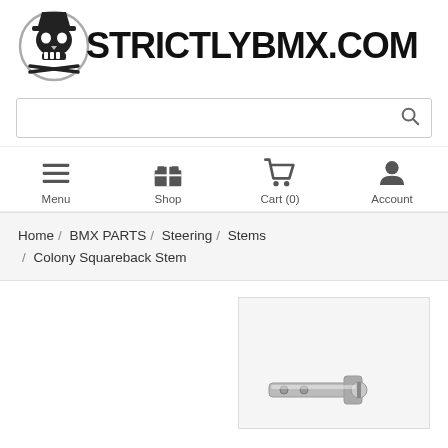[Figure (logo): StrictlyBMX.com logo with skull/pirate graphic in circle and bold text STRICTLYBMX.COM]
[Figure (screenshot): Search bar with search icon on the right]
[Figure (infographic): Navigation bar with Menu, Shop, Cart (0), Account icons]
Home / BMX PARTS / Steering / Stems / Colony Squareback Stem
[Figure (photo): Partial product photo of Colony Squareback Stem in lower right corner]